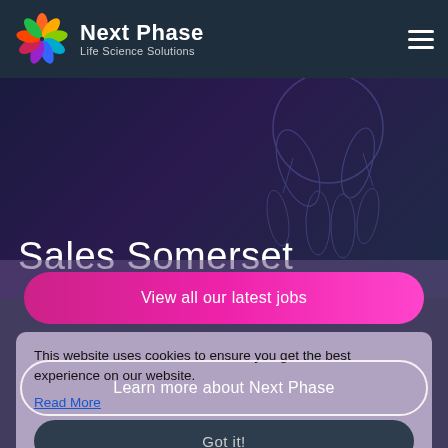Next Phase Life Science Solutions
Sales Somerset
View all our latest jobs
This website uses cookies to ensure you get the best experience on our website.
Read More
Learn more about Next Phase
Got it!